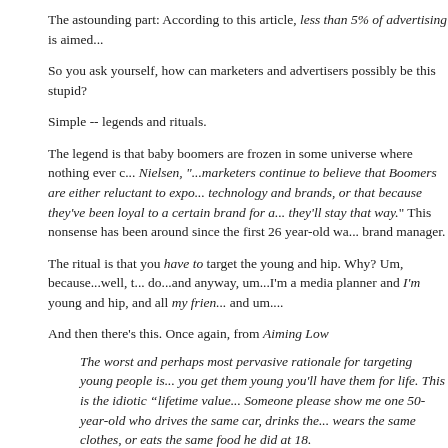The astounding part: According to this article, less than 5% of advertising is aimed...
So you ask yourself, how can marketers and advertisers possibly be this stupid?
Simple -- legends and rituals.
The legend is that baby boomers are frozen in some universe where nothing ever c... Nielsen, "...marketers continue to believe that Boomers are either reluctant to expo... technology and brands, or that because they've been loyal to a certain brand for a... they'll stay that way." This nonsense has been around since the first 26 year-old wa... brand manager.
The ritual is that you have to target the young and hip. Why? Um, because...well, t... do...and anyway, um...I'm a media planner and I'm young and hip, and all my frien... and um....
And then there's this. Once again, from Aiming Low
The worst and perhaps most pervasive rationale for targeting young people is... you get them young you'll have them for life. This is the idiotic “lifetime value... Someone please show me one 50-year-old who drives the same car, drinks the... wears the same clothes, or eats the same food he did at 18.